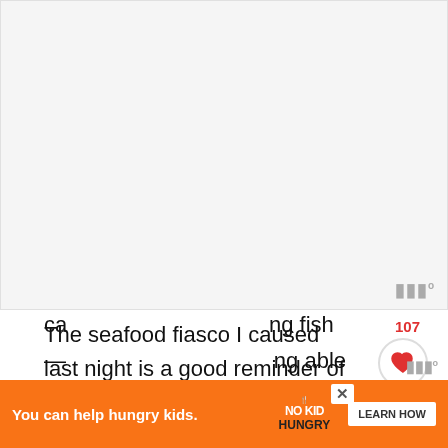[Figure (other): Light gray blank image area with a watermark logo in the bottom right corner]
The seafood fiasco I caused last night is a good reminder of how much I have left to learn. I don't eat seafood. Therefore, I do not cook seafood. I am allergic to shellfish and besides that I think seafood smells GHASTLY. In the event of a world ca...ing fish — ...ng able
[Figure (infographic): Advertisement banner: orange background with 'You can help hungry kids.' text, No Kid Hungry logo, and LEARN HOW button. An X close button is visible.]